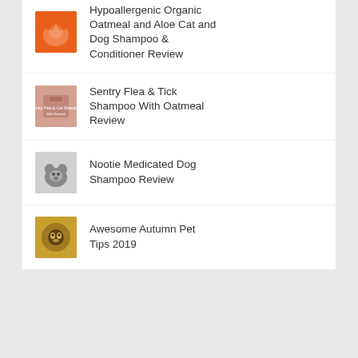Hypoallergenic Organic Oatmeal and Aloe Cat and Dog Shampoo & Conditioner Review
Sentry Flea & Tick Shampoo With Oatmeal Review
Nootie Medicated Dog Shampoo Review
Awesome Autumn Pet Tips 2019